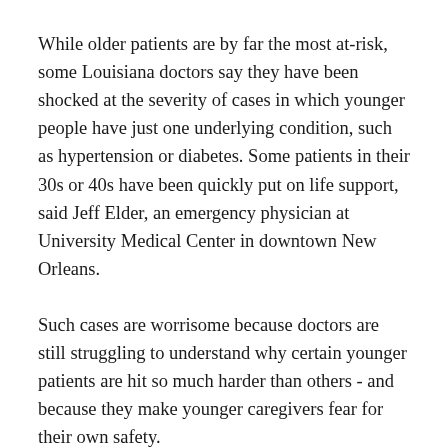While older patients are by far the most at-risk, some Louisiana doctors say they have been shocked at the severity of cases in which younger people have just one underlying condition, such as hypertension or diabetes. Some patients in their 30s or 40s have been quickly put on life support, said Jeff Elder, an emergency physician at University Medical Center in downtown New Orleans.
Such cases are worrisome because doctors are still struggling to understand why certain younger patients are hit so much harder than others - and because they make younger caregivers fear for their own safety.